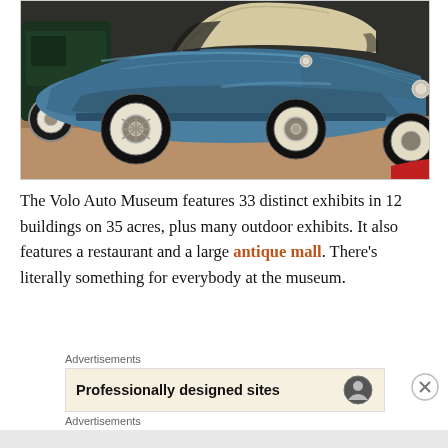[Figure (photo): Photo of a classic vintage blue convertible automobile (1930s style) with white-wall tires displayed in a museum setting, with a dark green car visible in the background.]
The Volo Auto Museum features 33 distinct exhibits in 12 buildings on 35 acres, plus many outdoor exhibits. It also features a restaurant and a large antique mall. There’s literally something for everybody at the museum.
Advertisements
Professionally designed sites
Advertisements